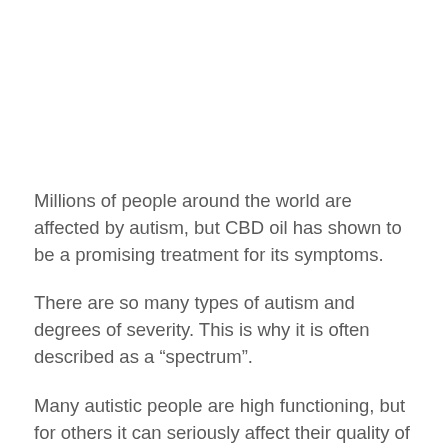Millions of people around the world are affected by autism, but CBD oil has shown to be a promising treatment for its symptoms.
There are so many types of autism and degrees of severity. This is why it is often described as a “spectrum”.
Many autistic people are high functioning, but for others it can seriously affect their quality of life.
But wherever a person is on the spectrum, using CBD oil has the potential to make people’s lives happier and